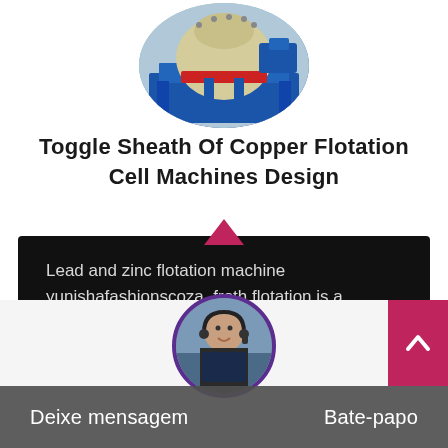[Figure (photo): Circular cropped photo of a blue and beige industrial cone crusher or flotation cell machine mounted on a blue steel frame]
Toggle Sheath Of Copper Flotation Cell Machines Design
Lead and zinc flotation machine yunishafashionscoza. froth flotation is a mineral concentration process used to...
[Figure (photo): Circular cropped photo of a woman wearing a headset (customer support agent) against an industrial background]
Deixe mensagem   Bate-papo